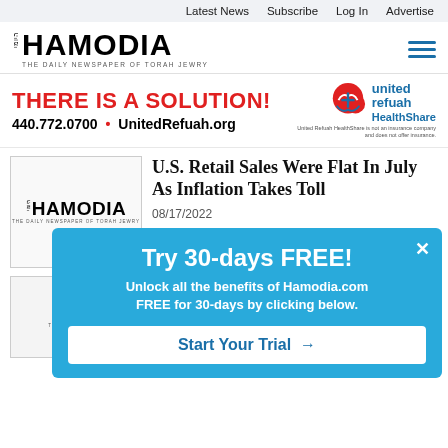Latest News   Subscribe   Log In   Advertise
[Figure (logo): Hamodia newspaper logo with Hebrew text and tagline THE DAILY NEWSPAPER OF TORAH JEWRY]
[Figure (logo): United Refuah HealthShare logo with red and blue icon]
[Figure (infographic): Advertisement: THERE IS A SOLUTION! 440.772.0700 • UnitedRefuah.org. United Refuah HealthShare is not an insurance company and does not offer insurance.]
[Figure (logo): Hamodia logo thumbnail for article]
U.S. Retail Sales Were Flat In July As Inflation Takes Toll
08/17/2022
[Figure (logo): Hamodia logo thumbnail for second article]
Try 30-days FREE! Unlock all the benefits of Hamodia.com FREE for 30-days by clicking below. Start Your Trial →